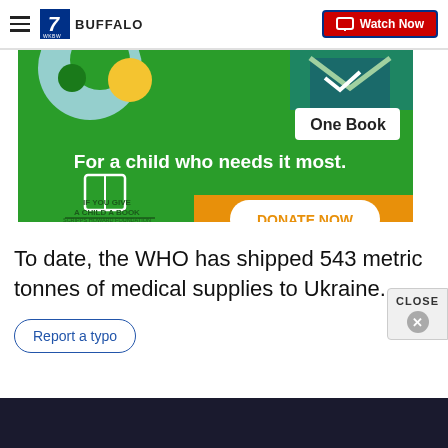7 WKBW BUFFALO — Watch Now
[Figure (illustration): Advertisement banner for 'If You Give a Child a Book' campaign by Scripps Howard Foundation. Green background with text 'One Book — For a child who needs it most.' and orange 'DONATE NOW' button.]
To date, the WHO has shipped 543 metric tonnes of medical supplies to Ukraine.
Report a typo